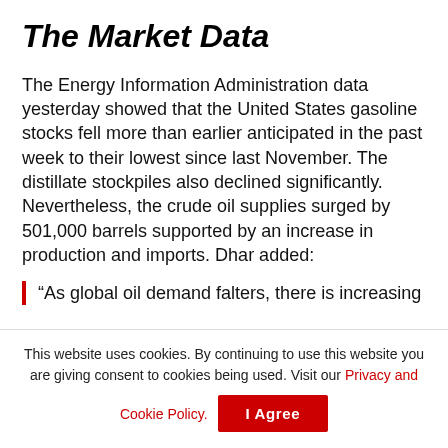The Market Data
The Energy Information Administration data yesterday showed that the United States gasoline stocks fell more than earlier anticipated in the past week to their lowest since last November. The distillate stockpiles also declined significantly. Nevertheless, the crude oil supplies surged by 501,000 barrels supported by an increase in production and imports. Dhar added:
“As global oil demand falters, there is increasing
This website uses cookies. By continuing to use this website you are giving consent to cookies being used. Visit our Privacy and Cookie Policy.